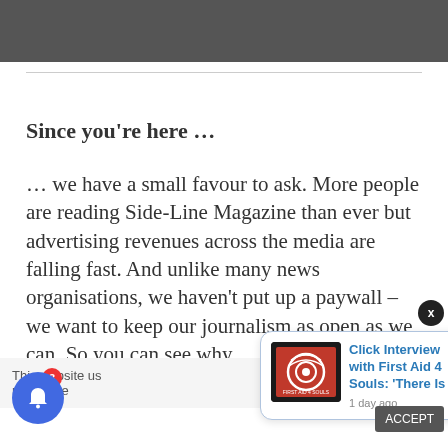[Figure (photo): Dark grey/charcoal image strip at the top of the page, partially visible]
Since you're here …
… we have a small favour to ask. More people are reading Side-Line Magazine than ever but advertising revenues across the media are falling fast. And unlike many news organisations, we haven't put up a paywall – we want to keep our journalism as open as we can. So you can see why
This website us… me you're…
[Figure (logo): First Aid 4 Souls logo — dark background with red and white circular design]
Click Interview with First Aid 4 Souls: 'There Is
1 day ago